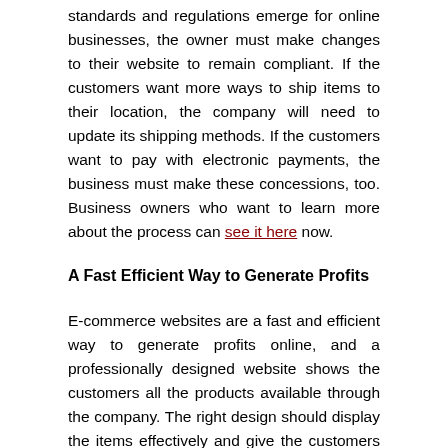standards and regulations emerge for online businesses, the owner must make changes to their website to remain compliant. If the customers want more ways to ship items to their location, the company will need to update its shipping methods. If the customers want to pay with electronic payments, the business must make these concessions, too. Business owners who want to learn more about the process can see it here now.
A Fast Efficient Way to Generate Profits
E-commerce websites are a fast and efficient way to generate profits online, and a professionally designed website shows the customers all the products available through the company. The right design should display the items effectively and give the customers information about the products.
The checkout process should also be convenient and take just a few minutes. A personalized shopping cart and